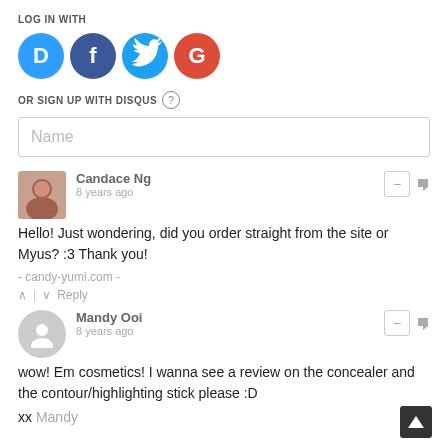LOG IN WITH
[Figure (illustration): Four social login icons: Disqus (blue circle with D), Facebook (dark blue circle with f), Twitter (light blue circle with bird), Google (red circle with G)]
OR SIGN UP WITH DISQUS ?
Name
Candace Ng
8 years ago
Hello! Just wondering, did you order straight from the site or Myus? :3 Thank you!
- candy-yumi.com -
^ | v Reply
Mandy Ooi
8 years ago
wow! Em cosmetics! I wanna see a review on the concealer and the contour/highlighting stick please :D
xx Mandy